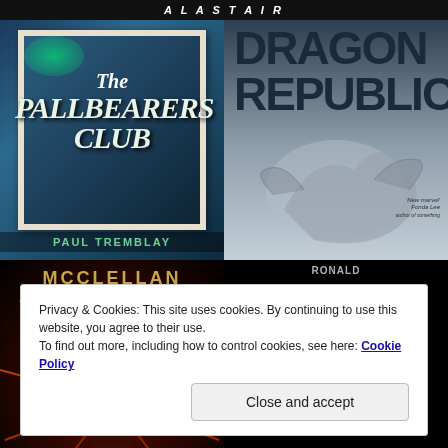[Figure (photo): Book cover: The Pallbearers Club by Paul Tremblay - dark blue background with vintage polaroid photo effect]
[Figure (photo): Book cover: Dragon Republic - title in large bold text at top, fantasy creature illustration below]
[Figure (photo): Book cover: McClellan - red/orange dramatic fantasy scene with robed figure silhouette]
[Figure (photo): Book cover: Black Mouth by Ronald Malfi - black background with golden title text]
Privacy & Cookies: This site uses cookies. By continuing to use this website, you agree to their use.
To find out more, including how to control cookies, see here: Cookie Policy
Close and accept